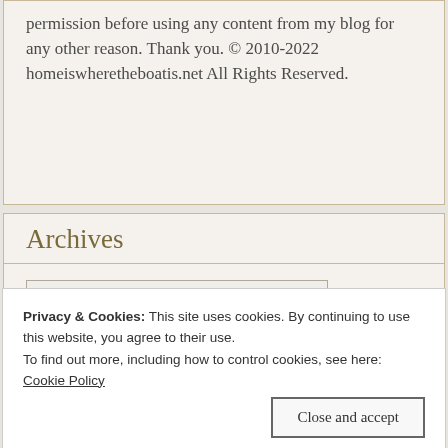permission before using any content from my blog for any other reason. Thank you. © 2010-2022 homeiswheretheboatis.net All Rights Reserved.
Archives
Select Month
Top Posts & Pages
Privacy & Cookies: This site uses cookies. By continuing to use this website, you agree to their use.
To find out more, including how to control cookies, see here:
Cookie Policy
Close and accept
[Figure (photo): Bottom image strip showing four food/recipe thumbnail photos]